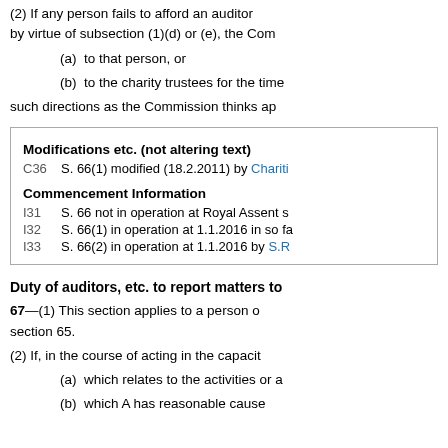(2) If any person fails to afford an auditor by virtue of subsection (1)(d) or (e), the Com
(a)  to that person, or
(b)  to the charity trustees for the time
such directions as the Commission thinks ap
Modifications etc. (not altering text)
C36    S. 66(1) modified (18.2.2011) by Chariti
Commencement Information
I31    S. 66 not in operation at Royal Assent s
I32    S. 66(1) in operation at 1.1.2016 in so fa
I33    S. 66(2) in operation at 1.1.2016 by S.R
Duty of auditors, etc. to report matters to
67—(1) This section applies to a person o section 65.
(2) If, in the course of acting in the capacit
(a)  which relates to the activities or a
(b)  which A has reasonable cause